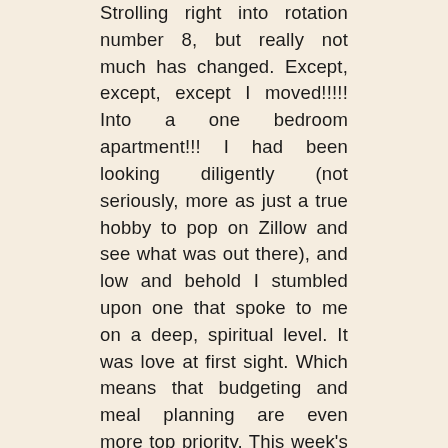Strolling right into rotation number 8, but really not much has changed. Except, except, except I moved!!!!! Into a one bedroom apartment!!! I had been looking diligently (not seriously, more as just a true hobby to pop on Zillow and see what was out there), and low and behold I stumbled upon one that spoke to me on a deep, spiritual level. It was love at first sight. Which means that budgeting and meal planning are even more top priority. This week's meal prep features tasty, budget friendly recipes with a twist. Because I'm highlighting a fibery and fantastic fruit – the pear.
Being in my GI rotation now, we spend a lot of time talking about fiber. Mostly because constipation is just so absurdly common and the average American really only gets about